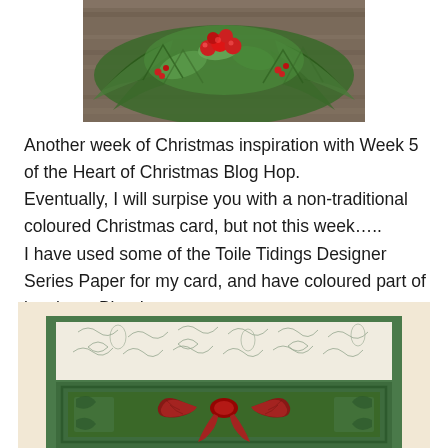[Figure (photo): Close-up photo of Christmas holiday decoration with red berries, pine branches, green leaves, and red ornament apples arranged on a rustic wooden surface.]
Another week of Christmas inspiration with Week 5 of the Heart of Christmas Blog Hop.
Eventually, I will surpise you with a non-traditional coloured Christmas card, but not this week…..
I have used some of the Toile Tidings Designer Series Paper for my card, and have coloured part of it using a Blender pen.
[Figure (photo): Handmade Christmas card featuring green cardstock layers, Toile Tidings Designer Series Paper with green botanical print, an embossed green frame, and a red velvet/crinkle ribbon bow in the center.]